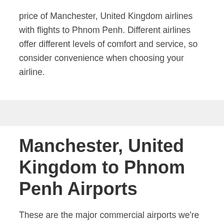price of Manchester, United Kingdom airlines with flights to Phnom Penh. Different airlines offer different levels of comfort and service, so consider convenience when choosing your airline.
Manchester, United Kingdom to Phnom Penh Airports
These are the major commercial airports we're currently monitoring in Manchester, United Kingdom and Phnom Penh. If your route includes a city with